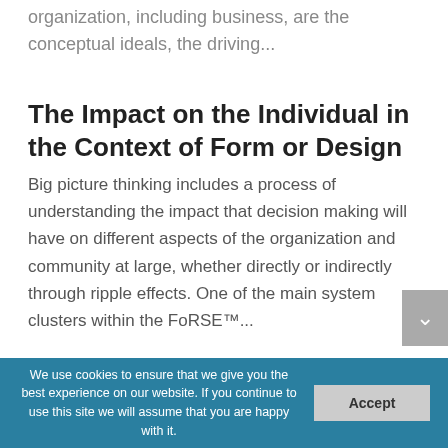organization, including business, are the conceptual ideals, the driving...
The Impact on the Individual in the Context of Form or Design
Big picture thinking includes a process of understanding the impact that decision making will have on different aspects of the organization and community at large, whether directly or indirectly through ripple effects. One of the main system clusters within the FoRSE™...
We use cookies to ensure that we give you the best experience on our website. If you continue to use this site we will assume that you are happy with it.